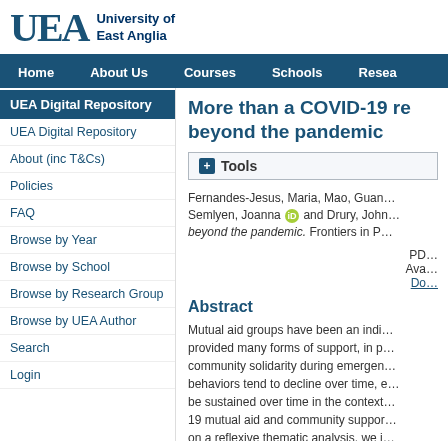University of East Anglia
Home | About Us | Courses | Schools | Resea…
UEA Digital Repository
UEA Digital Repository
About (inc T&Cs)
Policies
FAQ
Browse by Year
Browse by School
Browse by Research Group
Browse by UEA Author
Search
Login
More than a COVID-19 re… beyond the pandemic
Tools
Fernandes-Jesus, Maria, Mao, Guan… Semlyen, Joanna and Drury, John… beyond the pandemic. Frontiers in P…
PDF Available Do…
Abstract
Mutual aid groups have been an indi… provided many forms of support, in p… community solidarity during emergen… behaviors tend to decline over time, e… be sustained over time in the context… 19 mutual aid and community suppor… on a reflexive thematic analysis, we i… related to sustained participation in C… the second page and below.